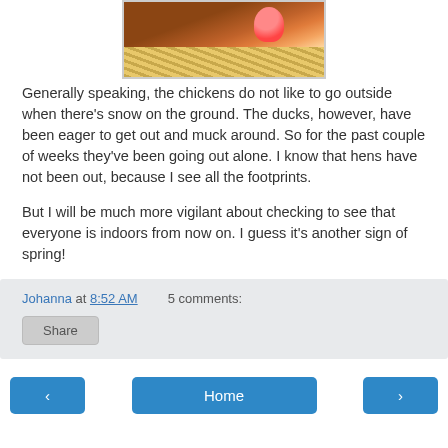[Figure (photo): Close-up photo of a brown/red chicken or rooster sitting on straw, with pink comb and wattles visible]
Generally speaking, the chickens do not like to go outside when there's snow on the ground.  The ducks, however, have been eager to get out and muck around.  So for the past couple of weeks they've been going out alone.  I know that hens have not been out, because I see all the footprints.
But I will be much more vigilant about checking to see that everyone is indoors from now on.  I guess it's another sign of spring!
Johanna at 8:52 AM    5 comments:
Share